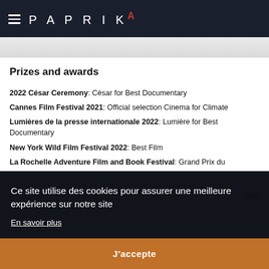PAPRIKA
[Figure (screenshot): Browser address bar / toolbar strip screenshot]
Prizes and awards
2022 César Ceremony: César for Best Documentary
Cannes Film Festival 2021: Official selection Cinema for Climate
Lumières de la presse internationale 2022: Lumière for Best Documentary
New York Wild Film Festival 2022: Best Film
La Rochelle Adventure Film and Book Festival: Grand Prix du …
Best
Ce site utilise des cookies pour assurer une meilleure expérience sur notre site
En savoir plus
J'accepte